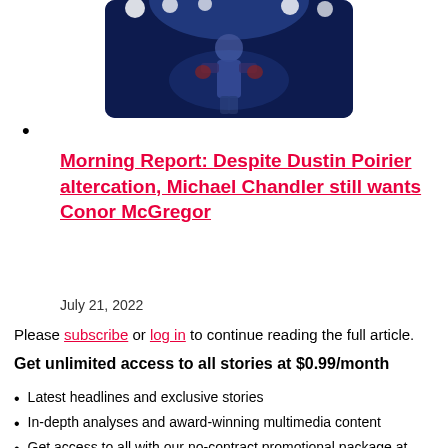[Figure (photo): MMA fighter (Conor McGregor) posing under blue stage lights in an arena, wearing blue shorts and gloves]
Morning Report: Despite Dustin Poirier altercation, Michael Chandler still wants Conor McGregor
July 21, 2022
Please subscribe or log in to continue reading the full article.
Get unlimited access to all stories at $0.99/month
Latest headlines and exclusive stories
In-depth analyses and award-winning multimedia content
Get access to all with our no-contract promotional package at only $0.99/month for the first 3 months*